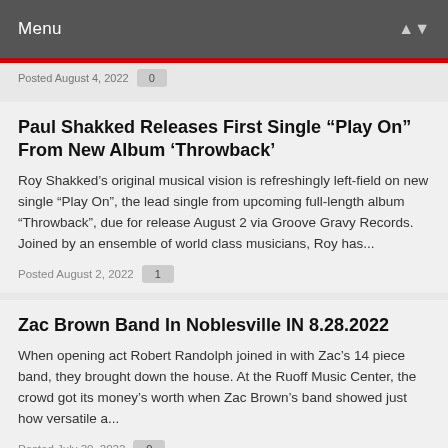Menu
Posted August 4, 2022   0
Paul Shakked Releases First Single “Play On” From New Album ‘Throwback’
Roy Shakked’s original musical vision is refreshingly left-field on new single “Play On”, the lead single from upcoming full-length album “Throwback”, due for release August 2 via Groove Gravy Records. Joined by an ensemble of world class musicians, Roy has...
Posted August 2, 2022   1
Zac Brown Band In Noblesville IN 8.28.2022
When opening act Robert Randolph joined in with Zac’s 14 piece band, they brought down the house. At the Ruoff Music Center, the crowd got its money’s worth when Zac Brown’s band showed just how versatile a...
Posted July 30, 2022   0